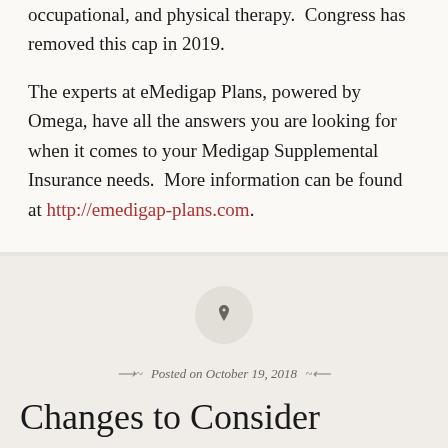occupational, and physical therapy.  Congress has removed this cap in 2019.
The experts at eMedigap Plans, powered by Omega, have all the answers you are looking for when it comes to your Medigap Supplemental Insurance needs.  More information can be found at http://emedigap-plans.com.
Posted on October 19, 2018
Changes to Consider During 2019